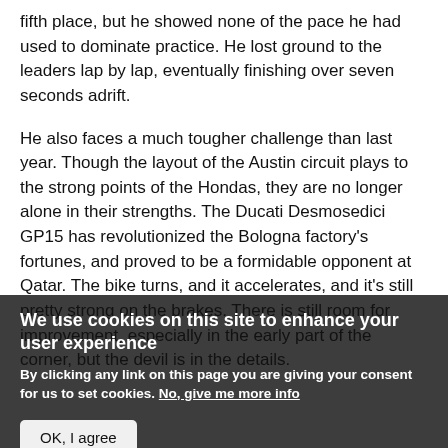fifth place, but he showed none of the pace he had used to dominate practice. He lost ground to the leaders lap by lap, eventually finishing over seven seconds adrift.
He also faces a much tougher challenge than last year. Though the layout of the Austin circuit plays to the strong points of the Hondas, they are no longer alone in their strengths. The Ducati Desmosedici GP15 has revolutionized the Bologna factory's fortunes, and proved to be a formidable opponent at Qatar. The bike turns, and it accelerates, and it's still pretty strong on the brakes. There is still room for improvement, especially in the early part of the corner, but the devil is in the details.
We use cookies on this site to enhance your user experience
By clicking any link on this page you are giving your consent for us to set cookies. No, give me more info
OK, I agree